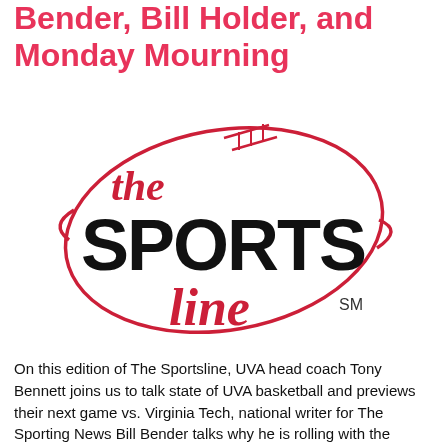Bender, Bill Holder, and Monday Mourning
[Figure (logo): The Sports Line logo — football-shaped outline in red with laces at top, 'the' in red cursive script, 'SPORTS' in large black bold text, 'line' in red cursive script, and 'SM' superscript]
On this edition of The Sportsline, UVA head coach Tony Bennett joins us to talk state of UVA basketball and previews their next game vs. Virginia Tech, national writer for The Sporting News Bill Bender talks why he is rolling with the